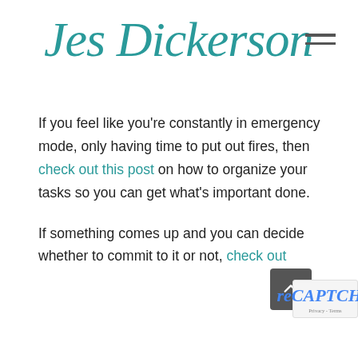Jes Dickerson
If you feel like you're constantly in emergency mode, only having time to put out fires, then check out this post on how to organize your tasks so you can get what's important done.
If something comes up and you can decide whether to commit to it or not, check out